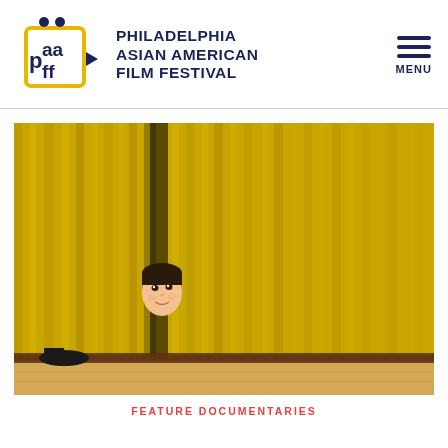[Figure (logo): Philadelphia Asian American Film Festival logo — PAAFF letters in dark navy with a yellow film reel/frame graphic and a small play button triangle]
PHILADELPHIA ASIAN AMERICAN FILM FESTIVAL
[Figure (photo): A child peeks through the gap in large yellow stage curtains, looking out at the audience. The curtains are a deep golden yellow with vertical folds, and the child's face is visible between them.]
FEATURE DOCUMENTARIES